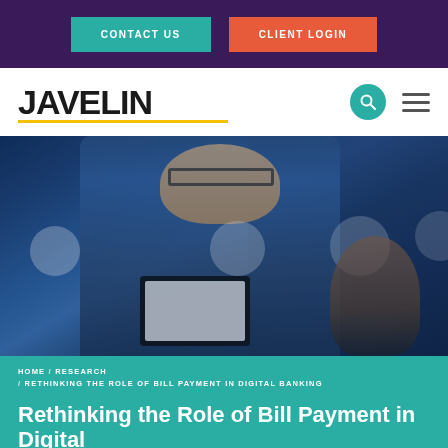CONTACT US | CLIENT LOGIN
[Figure (logo): Javelin company logo with gold underline, search icon, and hamburger menu]
[Figure (photo): Man with glasses and beard holding a tablet device in a tech office environment, woman in background, blue-tinted lighting with white circular bokeh overlays]
HOME / RESEARCH / RETHINKING THE ROLE OF BILL PAYMENT IN DIGITAL BANKING
Rethinking the Role of Bill Payment in Digital